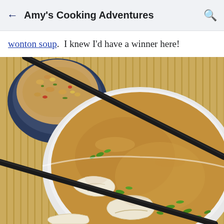Amy's Cooking Adventures
wonton soup.  I knew I'd have a winner here!
[Figure (photo): Overhead view of wonton soup in a white bowl with chopsticks resting across it and green onions garnish, alongside a bowl of fried rice, on a bamboo mat background]